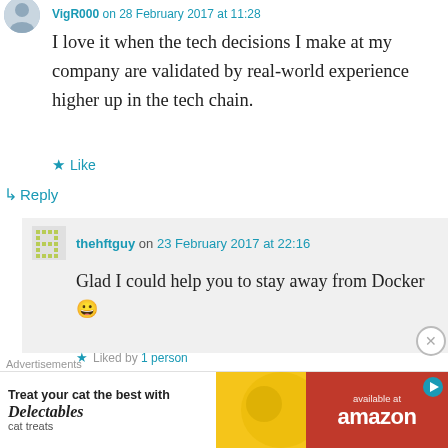VigR000 on 28 February 2017 at 11:28
I love it when the tech decisions I make at my company are validated by real-world experience higher up in the tech chain.
★ Like
↳ Reply
thehftguy on 23 February 2017 at 22:16
Glad I could help you to stay away from Docker 😀
★ Liked by 1 person
Advertisements
[Figure (other): Advertisement banner: Treat your cat the best with Delectables cat treats, available at amazon]